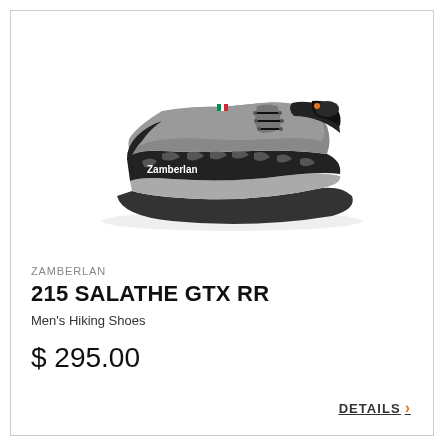[Figure (photo): Zamberlan 215 Salathe GTX RR hiking shoe in grey/black colorway, shown from a 3/4 angle on white background. The shoe features grey suede upper, black lacing system, black rubber toe cap and sole, and decorative camo-like pattern on the midsole area with 'Zamberlan' branding on the side.]
ZAMBERLAN
215 SALATHE GTX RR
Men's Hiking Shoes
$ 295.00
DETAILS ›